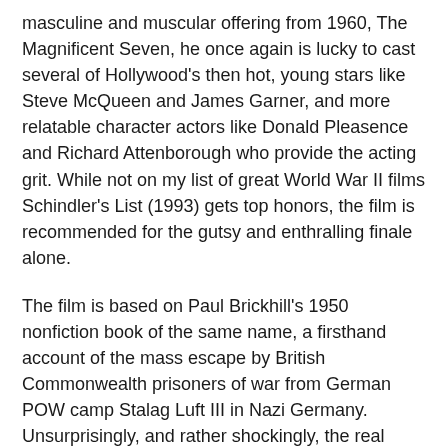masculine and muscular offering from 1960, The Magnificent Seven, he once again is lucky to cast several of Hollywood's then hot, young stars like Steve McQueen and James Garner, and more relatable character actors like Donald Pleasence and Richard Attenborough who provide the acting grit. While not on my list of great World War II films Schindler's List (1993) gets top honors, the film is recommended for the gutsy and enthralling finale alone.
The film is based on Paul Brickhill's 1950 nonfiction book of the same name, a firsthand account of the mass escape by British Commonwealth prisoners of war from German POW camp Stalag Luft III in Nazi Germany. Unsurprisingly, and rather shockingly, the real events are significantly modified from the historical record, depicting a starkly fictionalized version of the escape, including Americans among the escapees.
Let's discuss both portions, warts and all. The changes are